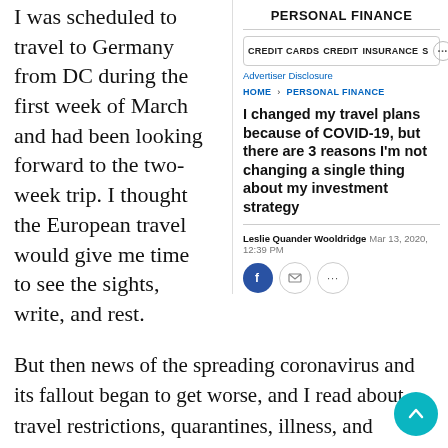I was scheduled to travel to Germany from DC during the first week of March and had been looking forward to the two-week trip. I thought the European travel would give me time to see the sights, write, and rest.
PERSONAL FINANCE
CREDIT CARDS   CREDIT   INSURANCE   S   ···
Advertiser Disclosure
HOME > PERSONAL FINANCE
I changed my travel plans because of COVID-19, but there are 3 reasons I'm not changing a single thing about my investment strategy
Leslie Quander Wooldridge   Mar 13, 2020, 12:39 PM
But then news of the spreading coronavirus and its fallout began to get worse, and I read about travel restrictions, quarantines, illness, and deaths. It was sobering — and realizing I needed to